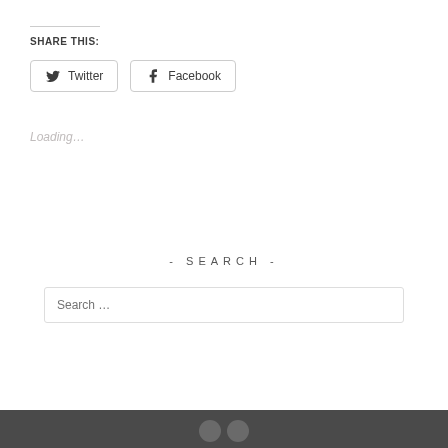SHARE THIS:
Twitter
Facebook
Loading...
- SEARCH -
Search …